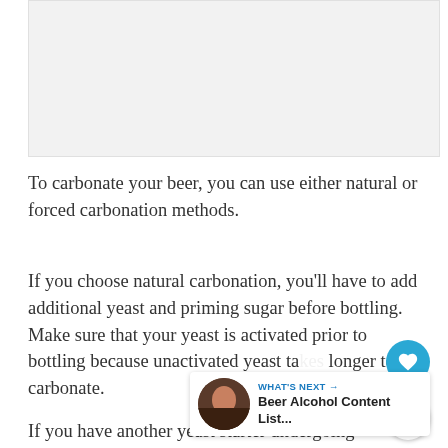[Figure (photo): Light grey placeholder image area at the top of the page]
To carbonate your beer, you can use either natural or forced carbonation methods.
If you choose natural carbonation, you'll have to add additional yeast and priming sugar before bottling. Make sure that your yeast is activated prior to bottling because unactivated yeast takes longer to carbonate.
If you have another yeast starter undergoing